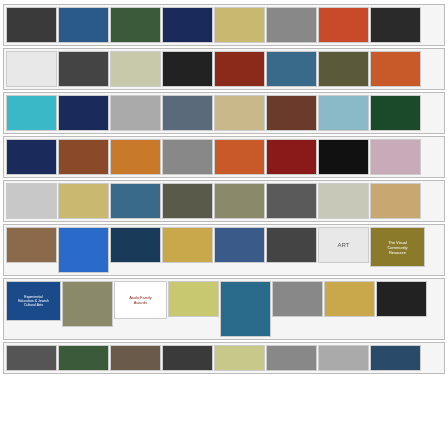[Figure (photo): Grid of art/photo thumbnails, row 1: 8 images including dark industrial, blue abstract, green nature, colorful performer, gold pattern, hand, orange thermal, dark soldier]
[Figure (photo): Grid of art/photo thumbnails, row 2: 8 images including architectural sketch, x-ray, Hebrew text, intricate pattern, red sculpture, mosaic, landscape, orange abstract]
[Figure (photo): Grid of art/photo thumbnails, row 3: 8 images including orange/cyan frame, city lights, tree drawing, landscape, textured fabric, interior, blue legs, colorful floral]
[Figure (photo): Grid of art/photo thumbnails, row 4: 8 images including cosmic, warm embrace, orange abstract, portrait, colorful figure, red storefront, dark sphere, fabric texture]
[Figure (photo): Grid of art/photo thumbnails, row 5: 8 images including dot pattern, manuscript, waterfall, cave, stone wall, sculpted forms, framed work, geometric]
[Figure (photo): Grid of art/photo thumbnails, row 6: pottery, mosaic dome, mosaic moon, gallery interior, swirling pattern, dark cellular, ART label, award logo]
[Figure (photo): Grid of art/photo thumbnails, row 7: education logo, street art, Anolic Family Awards logo, colorful map, swirling painting, calligraphy figure, interior, calligraphy]
[Figure (photo): Grid of art/photo thumbnails, row 8 (partial): multiple images partially visible at bottom]